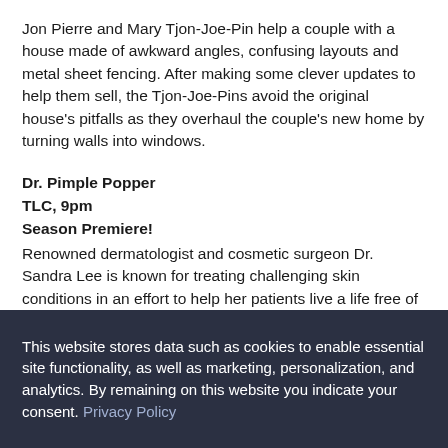Jon Pierre and Mary Tjon-Joe-Pin help a couple with a house made of awkward angles, confusing layouts and metal sheet fencing. After making some clever updates to help them sell, the Tjon-Joe-Pins avoid the original house's pitfalls as they overhaul the couple's new home by turning walls into windows.
Dr. Pimple Popper
TLC, 9pm
Season Premiere!
Renowned dermatologist and cosmetic surgeon Dr. Sandra Lee is known for treating challenging skin conditions in an effort to help her patients live a life free of discomfort or embarrassment. These brand-new episodes will feature some of her most challenging cases to date, including a patient who
This website stores data such as cookies to enable essential site functionality, as well as marketing, personalization, and analytics. By remaining on this website you indicate your consent. Privacy Policy